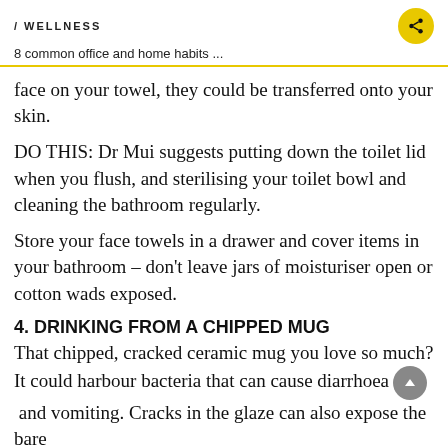/ WELLNESS
8 common office and home habits ...
face on your towel, they could be transferred onto your skin.
DO THIS: Dr Mui suggests putting down the toilet lid when you flush, and sterilising your toilet bowl and cleaning the bathroom regularly.
Store your face towels in a drawer and cover items in your bathroom – don't leave jars of moisturiser open or cotton wads exposed.
4. DRINKING FROM A CHIPPED MUG
That chipped, cracked ceramic mug you love so much? It could harbour bacteria that can cause diarrhoea and vomiting. Cracks in the glaze can also expose the bare